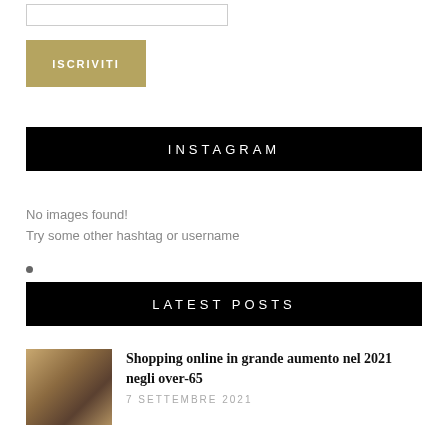[input field]
ISCRIVITI
INSTAGRAM
No images found!
Try some other hashtag or username
•
LATEST POSTS
[Figure (photo): Thumbnail photo of person shopping online with laptop and credit card on wooden desk with coffee]
Shopping online in grande aumento nel 2021 negli over-65
7 SETTEMBRE 2021